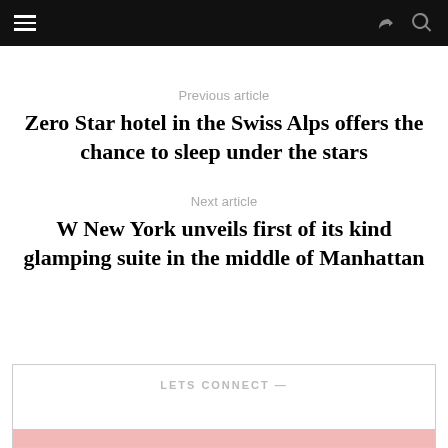Previous article
Zero Star hotel in the Swiss Alps offers the chance to sleep under the stars
Next article
W New York unveils first of its kind glamping suite in the middle of Manhattan
LETS CONNECT —